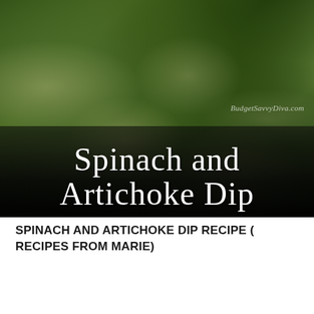[Figure (photo): Close-up photo of spinach and artichoke dip in a dark bowl, showing green spinach leaves, shredded cheese, and artichoke pieces. Text overlay reads 'Spinach and Artichoke Dip' in white serif font on a dark background. Watermark 'BudgetSavvyDiva.com' visible on the right side.]
SPINACH AND ARTICHOKE DIP RECIPE ( RECIPES FROM MARIE)